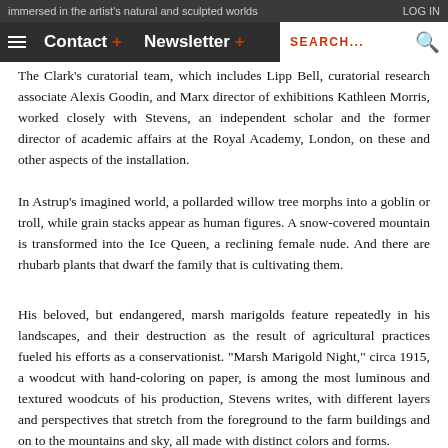immersed in the artist's natural and sculpted worlds    LOG IN
Contact +    Newsletter +    SEARCH...
The Clark's curatorial team, which includes Lipp Bell, curatorial research associate Alexis Goodin, and Marx director of exhibitions Kathleen Morris, worked closely with Stevens, an independent scholar and the former director of academic affairs at the Royal Academy, London, on these and other aspects of the installation.
In Astrup's imagined world, a pollarded willow tree morphs into a goblin or troll, while grain stacks appear as human figures. A snow-covered mountain is transformed into the Ice Queen, a reclining female nude. And there are rhubarb plants that dwarf the family that is cultivating them.
His beloved, but endangered, marsh marigolds feature repeatedly in his landscapes, and their destruction as the result of agricultural practices fueled his efforts as a conservationist. "Marsh Marigold Night," circa 1915, a woodcut with hand-coloring on paper, is among the most luminous and textured woodcuts of his production, Stevens writes, with different layers and perspectives that stretch from the foreground to the farm buildings and on to the mountains and sky, all made with distinct colors and forms.